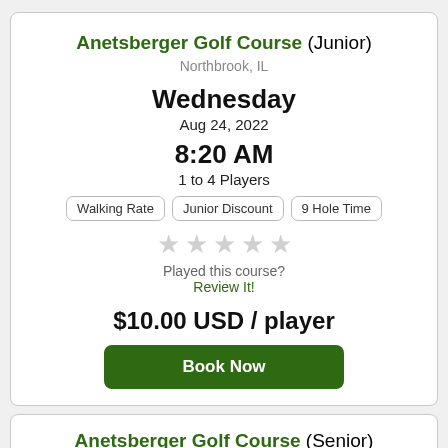Anetsberger Golf Course (Junior)
Northbrook, IL
Wednesday
Aug 24, 2022
8:20 AM
1 to 4 Players
Walking Rate | Junior Discount | 9 Hole Time
★★★★★ (empty stars)
Played this course?
Review It!
$10.00 USD / player
Book Now
Anetsberger Golf Course (Senior)